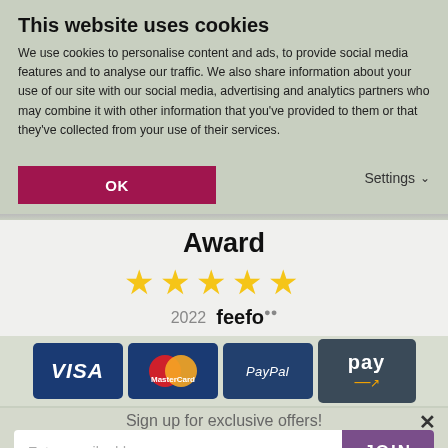This website uses cookies
We use cookies to personalise content and ads, to provide social media features and to analyse our traffic. We also share information about your use of our site with our social media, advertising and analytics partners who may combine it with other information that you've provided to them or that they've collected from your use of their services.
OK
Settings
Award
[Figure (other): Five gold stars rating display]
2022  feefo
[Figure (other): Payment method icons: VISA, MasterCard, PayPal, Amazon Pay]
Sign up for exclusive offers!
Enter email address
JOIN